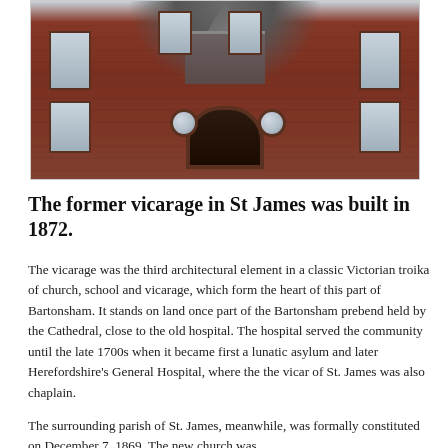[Figure (photo): Photograph of the former vicarage in St James — a red brick Victorian building with slate roof dormer, arched entrance, round circular windows flanking the arch, and rectangular sash windows.]
The former vicarage in St James was built in 1872.
The vicarage was the third architectural element in a classic Victorian troika of church, school and vicarage, which form the heart of this part of Bartonsham. It stands on land once part of the Bartonsham prebend held by the Cathedral, close to the old hospital. The hospital served the community until the late 1700s when it became first a lunatic asylum and later Herefordshire's General Hospital, where the the vicar of St. James was also chaplain.
The surrounding parish of St. James, meanwhile, was formally constituted on December 7, 1869. The new church was